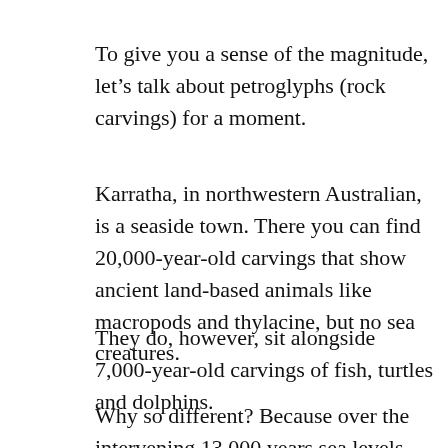To give you a sense of the magnitude, let's talk about petroglyphs (rock carvings) for a moment.
Karratha, in northwestern Australian, is a seaside town. There you can find 20,000-year-old carvings that show ancient land-based animals like macropods and thylacine, but no sea creatures.
They do, however, sit alongside 7,000-year-old carvings of fish, turtles and dolphins.
Why so different? Because over the intervening 13,000 years sea levels near Karratha rose 130...